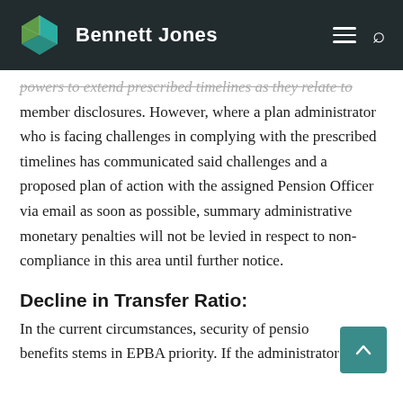Bennett Jones
powers to extend prescribed timelines as they relate to member disclosures. However, where a plan administrator who is facing challenges in complying with the prescribed timelines has communicated said challenges and a proposed plan of action with the assigned Pension Officer via email as soon as possible, summary administrative monetary penalties will not be levied in respect to non-compliance in this area until further notice.
Decline in Transfer Ratio:
In the current circumstances, security of pension benefits stems in EPBA priority. If the administrator of